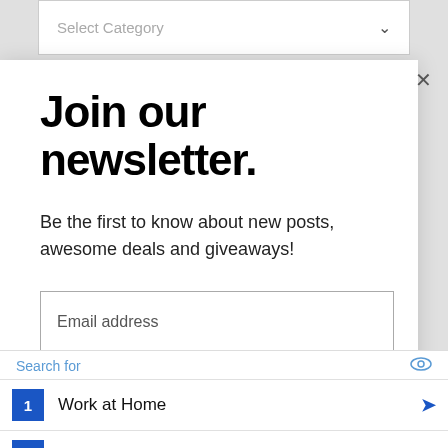[Figure (screenshot): Dropdown field with placeholder 'Select Category' and a chevron arrow on the right, inside a white bordered box]
Join our newsletter.
Be the first to know about new posts, awesome deals and giveaways!
[Figure (screenshot): Email address input field with placeholder text 'Email address']
[Figure (screenshot): Black Subscribe button with white text]
[Figure (screenshot): Advertisement block with 'Search for' label, eye icon, two list items: 1. Work at Home, 2. Yellow Pages, each with blue number badge and blue arrow]